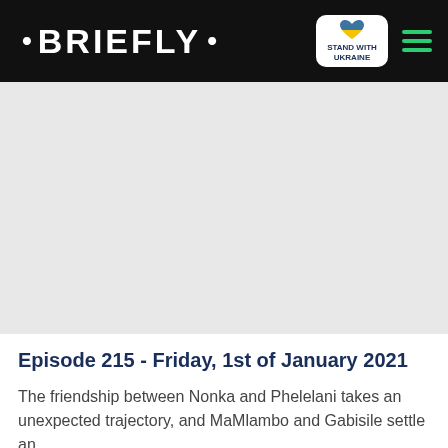• BRIEFLY •
[Figure (photo): Gray placeholder image area below navigation bar]
Episode 215 - Friday, 1st of January 2021
The friendship between Nonka and Phelelani takes an unexpected trajectory, and MaMlambo and Gabisile settle an